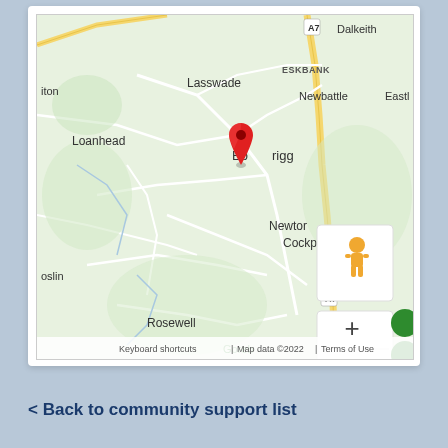[Figure (map): Google Maps screenshot showing Bonnyrigg area in Scotland with a red location pin marker placed on Bonnyrigg. Surrounding areas visible include Lasswade, Loanhead, Newbattle, Eskbank, Dalkeith, Newton Cockpen, Rosewell, and Gorebridge Leisure Centre. Map controls including a yellow pegman street view icon and zoom +/- buttons are visible. Footer shows 'Keyboard shortcuts | Map data ©2022 | Terms of Use'.]
< Back to community support list